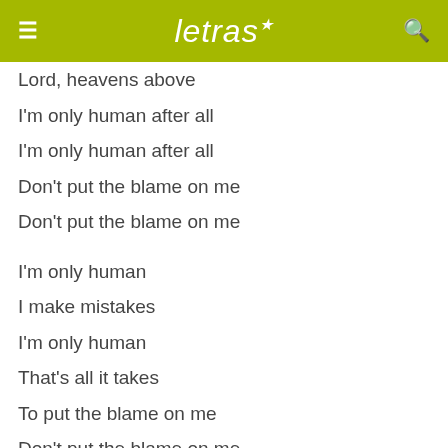letras
Lord, heavens above
I'm only human after all
I'm only human after all
Don't put the blame on me
Don't put the blame on me
I'm only human
I make mistakes
I'm only human
That's all it takes
To put the blame on me
Don't put the blame on me
'Cause I'm no prophet or Messiah